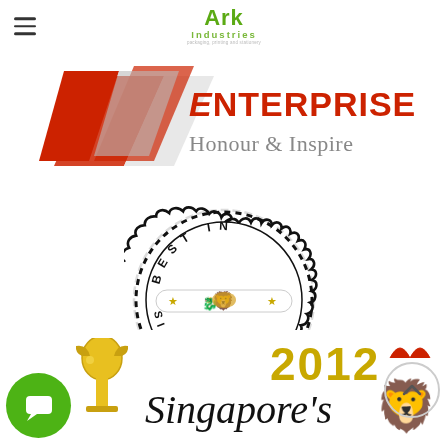[Figure (logo): Ark Industries logo with green text and hamburger menu icon in top header bar]
[Figure (logo): Enterprise Honour & Inspire award logo with red arrow/chevron shape and red/grey text]
[Figure (logo): Best in Singapore circular badge/seal with scalloped border and Merlion icon in center]
[Figure (logo): Singapore's 2012 award logo with red Merlion graphic and gold/black script text, partially visible at bottom]